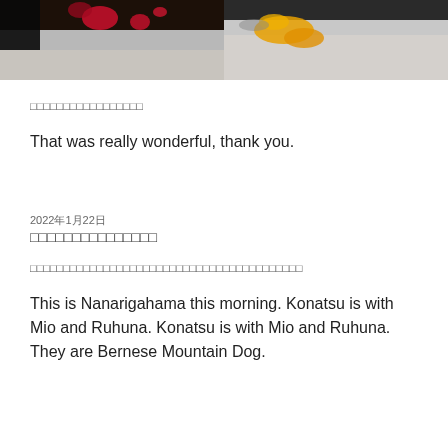[Figure (photo): Two photos side by side showing close-up of white plates with food — left shows red sauce drops, right shows yellow sauce on a plate]
□□□□□□□□□□□□□□□□□
That was really wonderful, thank you.
2022年1月22日
□□□□□□□□□□□□□□□
□□□□□□□□□□□□□□□□□□□□□□□□□□□□□□□□□□□□□□□□□
This is Nanarigahama this morning. Konatsu is with Mio and Ruhuna. Konatsu is with Mio and Ruhuna. They are Bernese Mountain Dog.